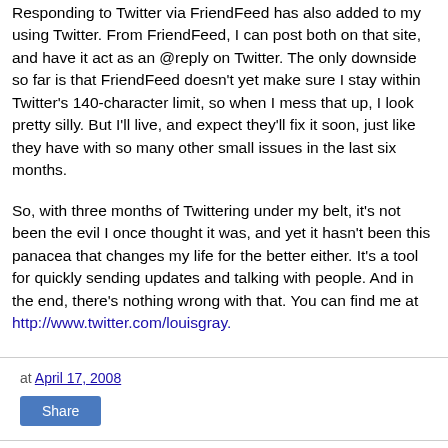Responding to Twitter via FriendFeed has also added to my using Twitter. From FriendFeed, I can post both on that site, and have it act as an @reply on Twitter. The only downside so far is that FriendFeed doesn't yet make sure I stay within Twitter's 140-character limit, so when I mess that up, I look pretty silly. But I'll live, and expect they'll fix it soon, just like they have with so many other small issues in the last six months.
So, with three months of Twittering under my belt, it's not been the evil I once thought it was, and yet it hasn't been this panacea that changes my life for the better either. It's a tool for quickly sending updates and talking with people. And in the end, there's nothing wrong with that. You can find me at http://www.twitter.com/louisgray.
at April 17, 2008
Share
5 comments: